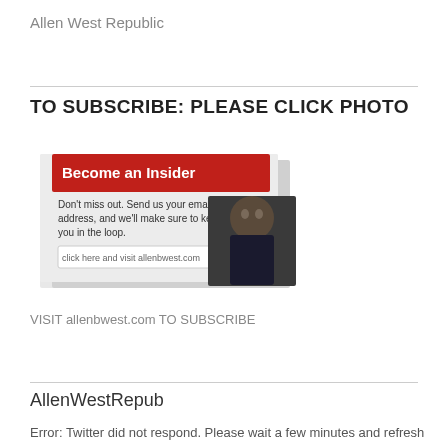Allen West Republic
TO SUBSCRIBE: PLEASE CLICK PHOTO
[Figure (screenshot): Screenshot of an 'Become an Insider' subscription widget from allenbwest.com with a red header bar, subscription text, and a photo of Allen West]
VISIT allenbwest.com TO SUBSCRIBE
AllenWestRepub
Error: Twitter did not respond. Please wait a few minutes and refresh